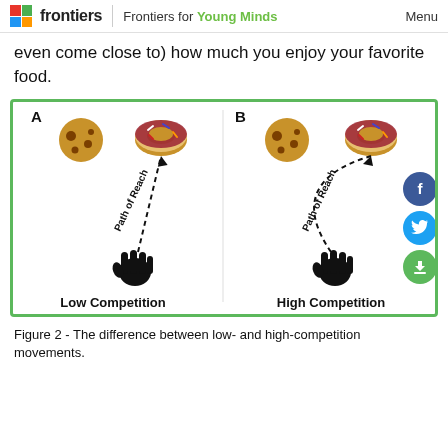frontiers | Frontiers for Young Minds   Menu
even come close to) how much you enjoy your favorite food.
[Figure (illustration): Diagram showing two panels inside a green-bordered box. Panel A (Low Competition): a cookie and a donut with a dashed arrow labeled 'Path of Reach' pointing from a hand silhouette upward to the donut in a straight line. Panel B (High Competition): a cookie and a donut with a curved dashed arrow labeled 'Path of Reach' pointing from a hand silhouette up and around to the donut, indicating a longer/curved path. Labels 'Low Competition' and 'High Competition' appear below each panel in bold.]
Figure 2 - The difference between low- and high-competition movements.